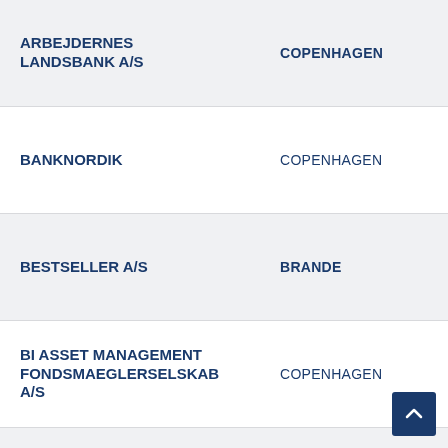| Name | City | Abbreviation |
| --- | --- | --- |
| ARBEJDERNES LANDSBANK A/S | COPENHAGEN | ARBEJDERNES LANDSBANK A/S |
| BANKNORDIK | COPENHAGEN | BANKNORDIK |
| BESTSELLER A/S | BRANDE | BESTSELLER A/S |
| BI ASSET MANAGEMENT FONDSMAEGLERSELSKAB A/S | COPENHAGEN | BI ASSET MANAGEMENT FONDSMAEGLERSELSKAB A/S |
| BIL DANMARK, FILIAL AF BANQUE INTERNATIONAL A LUXEMBOURG SA | COPENHAGEN | BIL DANMARK, FILIAL AF BANQUE INTERNATIONAL A LUXEMBOURG SA |